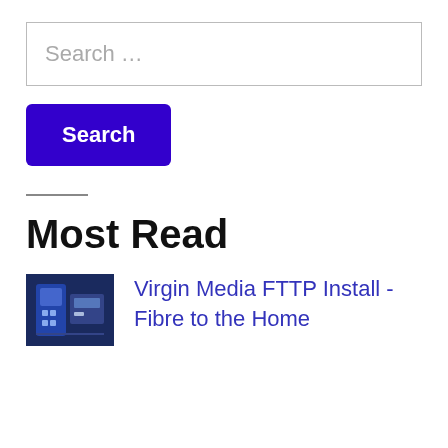Search …
Search
Most Read
[Figure (photo): Small thumbnail photo of networking/fibre equipment, blue tones]
Virgin Media FTTP Install - Fibre to the Home